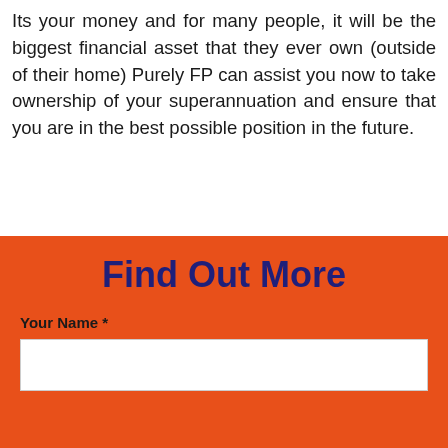Its your money and for many people, it will be the biggest financial asset that they ever own (outside of their home) Purely FP can assist you now to take ownership of your superannuation and ensure that you are in the best possible position in the future.
Find Out More
Your Name *